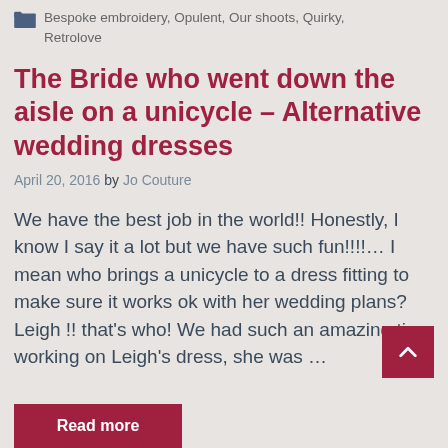Bespoke embroidery, Opulent, Our shoots, Quirky, Retrolove
The Bride who went down the aisle on a unicycle – Alternative wedding dresses
April 20, 2016 by Jo Couture
We have the best job in the world!! Honestly, I know I say it a lot but we have such fun!!!!… I mean who brings a unicycle to a dress fitting to make sure it works ok with her wedding plans?  Leigh !! that's who! We had such an amazing time working on Leigh's dress, she was …
Read more